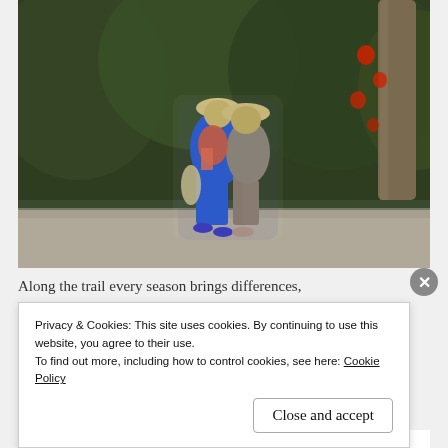[Figure (photo): Blurred/artistic photo of two people (one carrying a child) walking on a path, wearing hats, blue clothing, with green trees and red flowers/leaves in the background]
Along the trail every season brings differences,
Privacy & Cookies: This site uses cookies. By continuing to use this website, you agree to their use.
To find out more, including how to control cookies, see here: Cookie Policy
Close and accept